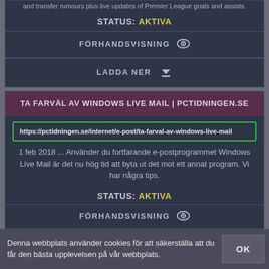and transfer rumours plus live updates of Premier League goals and assists.
STATUS: AKTIVA
FÖRHANDSVISNING
LADDA NER
TA FARVÄL AV WINDOWS LIVE MAIL | PCTIDNINGEN.SE
https://pctidningen.se/internet/e-post/ta-farval-av-windows-live-mail
1 feb 2018 ... Använder du fortfarande e-postprogrammet Windows Live Mail är det nu hög tid att byta ut det mot ett annat program. Vi har några tips.
STATUS: AKTIVA
FÖRHANDSVISNING
Denna webbplats använder cookies för att säkerställa att du får den bästa upplevelsen på vår webbplats.